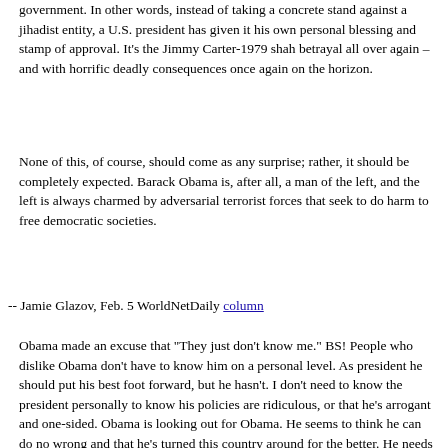government. In other words, instead of taking a concrete stand against a jihadist entity, a U.S. president has given it his own personal blessing and stamp of approval. It's the Jimmy Carter-1979 shah betrayal all over again – and with horrific deadly consequences once again on the horizon.
None of this, of course, should come as any surprise; rather, it should be completely expected. Barack Obama is, after all, a man of the left, and the left is always charmed by adversarial terrorist forces that seek to do harm to free democratic societies.
-- Jamie Glazov, Feb. 5 WorldNetDaily column
Obama made an excuse that "They just don't know me." BS! People who dislike Obama don't have to know him on a personal level. As president he should put his best foot forward, but he hasn't. I don't need to know the president personally to know his policies are ridiculous, or that he's arrogant and one-sided. Obama is looking out for Obama. He seems to think he can do no wrong and that he's turned this country around for the better. He needs to take the rose-colored glasses off and humble himself before he falls into an even deeper hole.